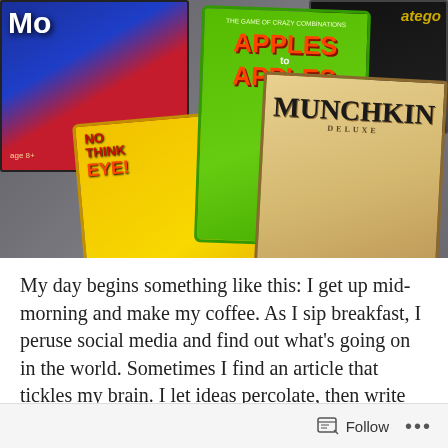[Figure (photo): A photo of several board game boxes spread on a table, including Monopoly, Stratego, No Think, Apples to Apples Junior, and Munchkin Deluxe.]
My day begins something like this: I get up mid-morning and make my coffee. As I sip breakfast, I peruse social media and find out what's going on in the world. Sometimes I find an article that tickles my brain. I let ideas percolate, then write on whatever subject comes to mind and let it sit for a while as I do other stuff.
The other day, a high-school friend (now a teacher)
Follow ...